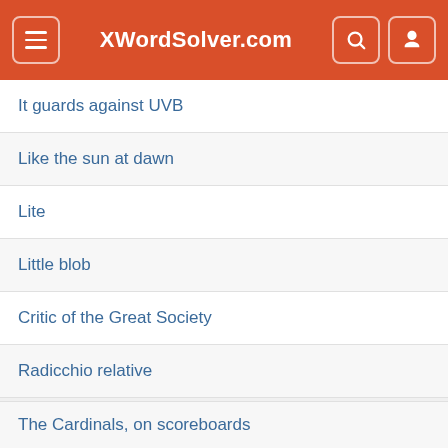XWordSolver.com
It guards against UVB
Like the sun at dawn
Lite
Little blob
Critic of the Great Society
Radicchio relative
[Figure (screenshot): Email subscription modal with airmail-style border. Text: 'Get the New York Times Crossword Answers delivered to your inbox every day!' with an email input field and send button.]
The Cardinals, on scoreboards